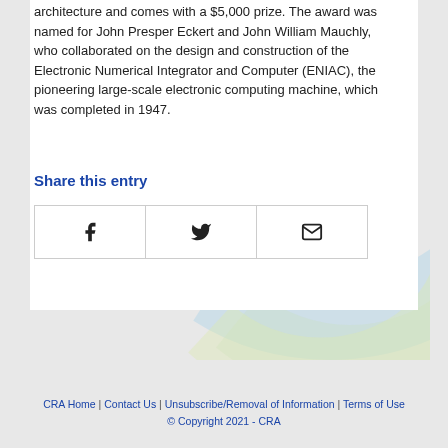architecture and comes with a $5,000 prize. The award was named for John Presper Eckert and John William Mauchly, who collaborated on the design and construction of the Electronic Numerical Integrator and Computer (ENIAC), the pioneering large-scale electronic computing machine, which was completed in 1947.
Share this entry
[Figure (infographic): Three social sharing buttons side by side: Facebook (f icon), Twitter (bird icon), Email (envelope icon)]
CRA Home | Contact Us | Unsubscribe/Removal of Information | Terms of Use © Copyright 2021 - CRA